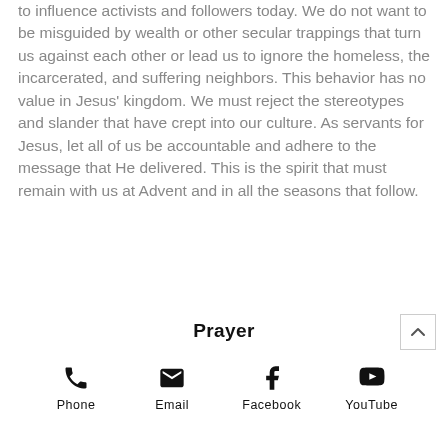to influence activists and followers today. We do not want to be misguided by wealth or other secular trappings that turn us against each other or lead us to ignore the homeless, the incarcerated, and suffering neighbors. This behavior has no value in Jesus' kingdom. We must reject the stereotypes and slander that have crept into our culture. As servants for Jesus, let all of us be accountable and adhere to the message that He delivered. This is the spirit that must remain with us at Advent and in all the seasons that follow.
Prayer
[Figure (other): Scroll-to-top button with upward chevron arrow]
[Figure (infographic): Four contact/social icons: Phone (telephone handset), Email (envelope), Facebook (f logo), YouTube (play button triangle)]
...